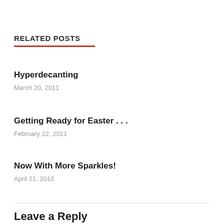RELATED POSTS
Hyperdecanting
March 20, 2011
Getting Ready for Easter . . .
February 22, 2011
Now With More Sparkles!
April 21, 2010
Leave a Reply